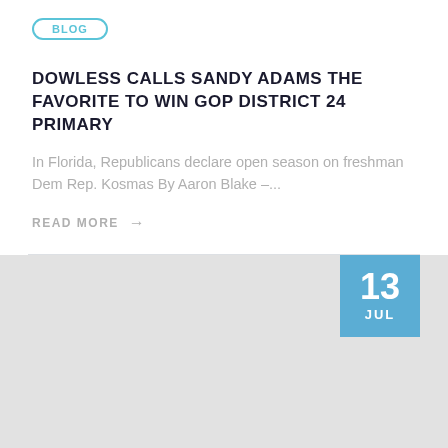BLOG
DOWLESS CALLS SANDY ADAMS THE FAVORITE TO WIN GOP DISTRICT 24 PRIMARY
In Florida, Republicans declare open season on freshman Dem Rep. Kosmas By Aaron Blake –...
READ MORE →
[Figure (photo): Gray placeholder image with a date badge showing 13 JUL in blue]